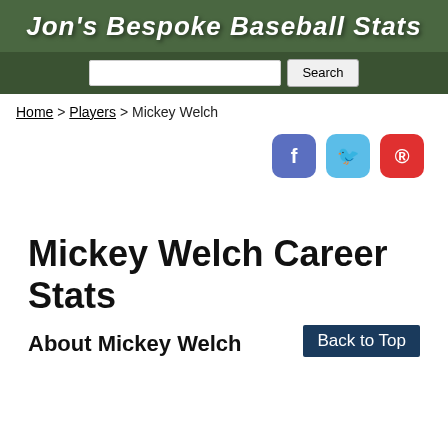Jon's Bespoke Baseball Stats
Search [search box] [Search button]
Home > Players > Mickey Welch
[Figure (other): Social media share buttons: Facebook (blue), Twitter (light blue), Pinterest (red)]
Mickey Welch Career Stats
About Mickey Welch
Back to Top